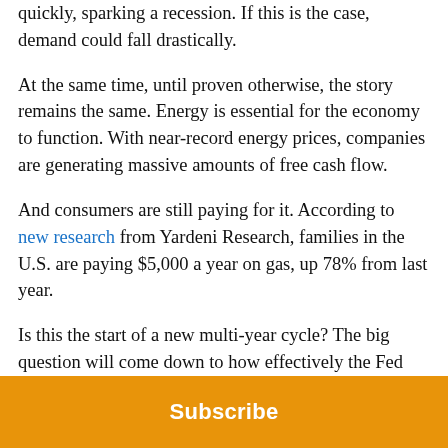quickly, sparking a recession. If this is the case, demand could fall drastically.
At the same time, until proven otherwise, the story remains the same. Energy is essential for the economy to function. With near-record energy prices, companies are generating massive amounts of free cash flow.
And consumers are still paying for it. According to new research from Yardeni Research, families in the U.S. are paying $5,000 a year on gas, up 78% from last year.
Is this the start of a new multi-year cycle? The big question will come down to how effectively the Fed will bring demand down.
As for XLE stock, I believe the ETF has more gas in the tank this year. With summer demand revving up, I wouldn't be surprised to see the rally continue. And then,
Subscribe